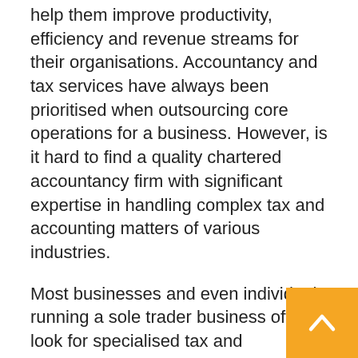help them improve productivity, efficiency and revenue streams for their organisations. Accountancy and tax services have always been prioritised when outsourcing core operations for a business. However, is it hard to find a quality chartered accountancy firm with significant expertise in handling complex tax and accounting matters of various industries.
Most businesses and even individuals running a sole trader business often look for specialised tax and accountancy advice tailored to their industries. This is where IBISS & CO has stepped in to provide high-quality services. The leading accountancy firm in the UK is creating buzz by helping businesses with their complicated financial matters. One of the highlights of their services is that they provide expert accounting and tax advice at affordable rates.